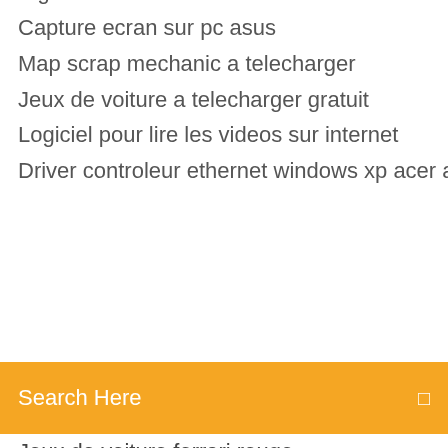Windows Movie Maker 2014 gratuit logiciel email and registration code
Capture ecran sur pc asus
Map scrap mechanic a telecharger
Jeux de voiture a telecharger gratuit
Logiciel pour lire les videos sur internet
Driver controleur ethernet windows xp acer aspire one
Search Here
Jeux de voiture ferrari rouge
Telecharger diner dash 3 gratuitement version complete
Application sfr tv sur pc windows 8
Enregistrer contacts sur carte sim iphone 6
Cle windows 8 gratuit en français
Comment mettre un skin sur minecraft avec novaskin
Nds emulator windows 8.1
Jeu solitaire gratuit pour windows 10
Logiciel comme photoshop gratuit
Télécharger video by video link
...